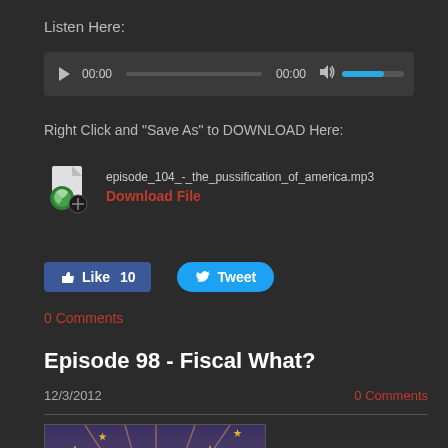Listen Here:
[Figure (screenshot): Audio player with play button, time display 00:00, progress bar, end time 00:00, volume icon and blue volume bar]
Right Click and "Save As" to DOWNLOAD Here:
[Figure (screenshot): File download icon with filename episode_104_-_the_pussification_of_america.mp3 and Download File link]
[Figure (screenshot): Facebook Like button showing 10 likes and Twitter Tweet button]
0 Comments
Episode 98 - Fiscal What?
12/3/2012
0 Comments
[Figure (illustration): Partial comic-style illustration showing colorful cartoon scene at bottom of page]